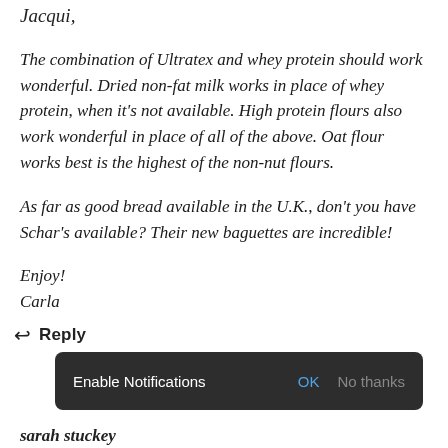Jacqui,
The combination of Ultratex and whey protein should work wonderful. Dried non-fat milk works in place of whey protein, when it's not available. High protein flours also work wonderful in place of all of the above. Oat flour works best is the highest of the non-nut flours.
As far as good bread available in the U.K., don't you have Schar's available? Their new baguettes are incredible!
Enjoy!
Carla
↩ Reply
[Figure (screenshot): Dark notification bar with text 'Enable Notifications' and buttons 'OK' (blue) and 'No thanks' (gray)]
sarah stuckey